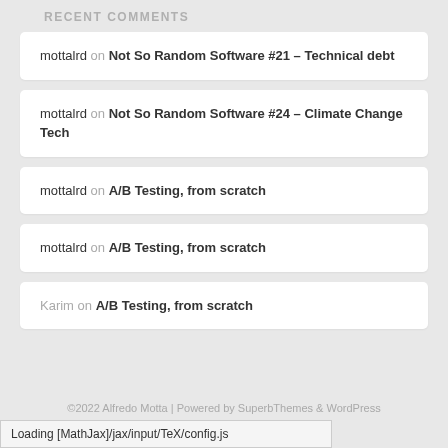RECENT COMMENTS
mottalrd on Not So Random Software #21 – Technical debt
mottalrd on Not So Random Software #24 – Climate Change Tech
mottalrd on A/B Testing, from scratch
mottalrd on A/B Testing, from scratch
Karim on A/B Testing, from scratch
©2022 Alfredo Motta | Powered by SuperbThemes & WordPress
Loading [MathJax]/jax/input/TeX/config.js